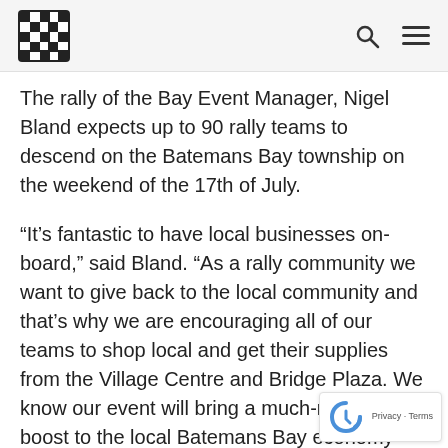[Logo] [Search icon] [Menu icon]
The rally of the Bay Event Manager, Nigel Bland expects up to 90 rally teams to descend on the Batemans Bay township on the weekend of the 17th of July.
“It’s fantastic to have local businesses on-board,” said Bland. “As a rally community we want to give back to the local community and that’s why we are encouraging all of our teams to shop local and get their supplies from the Village Centre and Bridge Plaza. We know our event will bring a much-needed boost to the local Batemans Bay economy and we’ll be encouraging them.